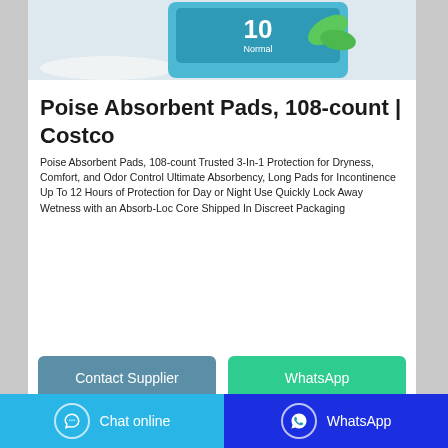[Figure (photo): Product photo showing Poise Absorbent Pads packaging with blue/teal branding on a white surface]
Poise Absorbent Pads, 108-count | Costco
Poise Absorbent Pads, 108-count Trusted 3-In-1 Protection for Dryness, Comfort, and Odor Control Ultimate Absorbency, Long Pads for Incontinence Up To 12 Hours of Protection for Day or Night Use Quickly Lock Away Wetness with an Absorb-Loc Core Shipped In Discreet Packaging
[Figure (screenshot): Contact Supplier and WhatsApp buttons]
Chat online   WhatsApp